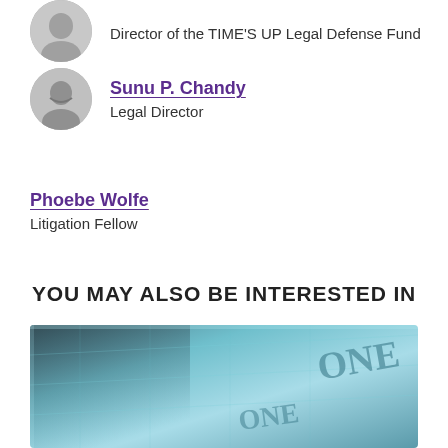Director of the TIME'S UP Legal Defense Fund
Sunu P. Chandy
Legal Director
Phoebe Wolfe
Litigation Fellow
YOU MAY ALSO BE INTERESTED IN
[Figure (photo): Close-up photo of a US dollar bill with teal/blue color tint, showing 'ONE' text on the currency]